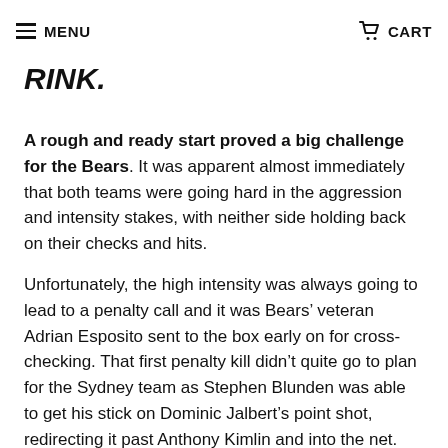MENU   BRAVE AT MACQUARIE ICE RINK.   CART
BRAVE AT MACQUARIE ICE RINK.
A rough and ready start proved a big challenge for the Bears. It was apparent almost immediately that both teams were going hard in the aggression and intensity stakes, with neither side holding back on their checks and hits.
Unfortunately, the high intensity was always going to lead to a penalty call and it was Bears’ veteran Adrian Esposito sent to the box early on for cross-checking. That first penalty kill didn’t quite go to plan for the Sydney team as Stephen Blunden was able to get his stick on Dominic Jalbert’s point shot, redirecting it past Anthony Kimlin and into the net.